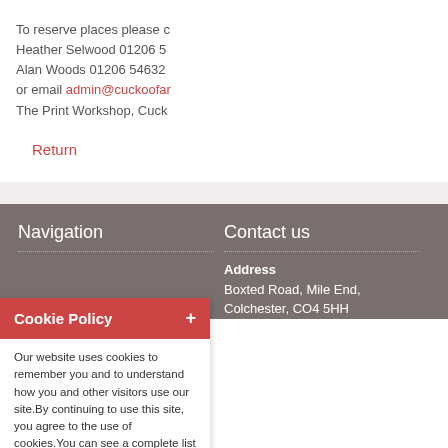To reserve places please contact Heather Selwood 01206 57 Alan Woods 01206 546326 or email admin@cuckoofar The Print Workshop, Cuck
Return
Navigation
Contact us
Cookie Policy +
Our website uses cookies to remember you and to understand how you and other visitors use our site. By continuing to use this site, you agree to the use of cookies. You can see a complete list of the
Address
Boxted Road, Mile End, Colchester, CO4 5HH